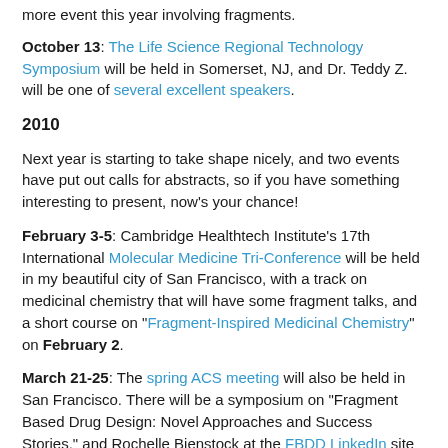more event this year involving fragments.
October 13: The Life Science Regional Technology Symposium will be held in Somerset, NJ, and Dr. Teddy Z. will be one of several excellent speakers.
2010
Next year is starting to take shape nicely, and two events have put out calls for abstracts, so if you have something interesting to present, now's your chance!
February 3-5: Cambridge Healthtech Institute’s 17th International Molecular Medicine Tri-Conference will be held in my beautiful city of San Francisco, with a track on medicinal chemistry that will have some fragment talks, and a short course on “Fragment-Inspired Medicinal Chemistry” on February 2.
March 21-25: The spring ACS meeting will also be held in San Francisco. There will be a symposium on “Fragment Based Drug Design: Novel Approaches and Success Stories,” and Rochelle Bienstock at the FBDD LinkedIn site